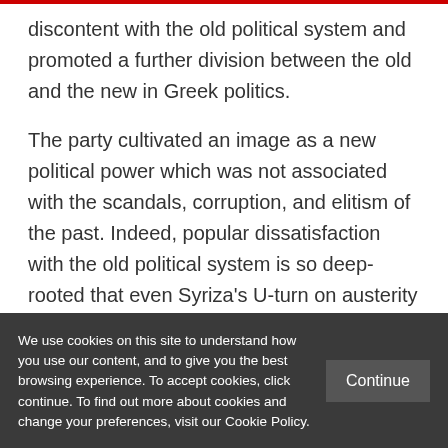discontent with the old political system and promoted a further division between the old and the new in Greek politics.
The party cultivated an image as a new political power which was not associated with the scandals, corruption, and elitism of the past. Indeed, popular dissatisfaction with the old political system is so deep-rooted that even Syriza's U-turn on austerity was not
We use cookies on this site to understand how you use our content, and to give you the best browsing experience. To accept cookies, click continue. To find out more about cookies and change your preferences, visit our Cookie Policy.